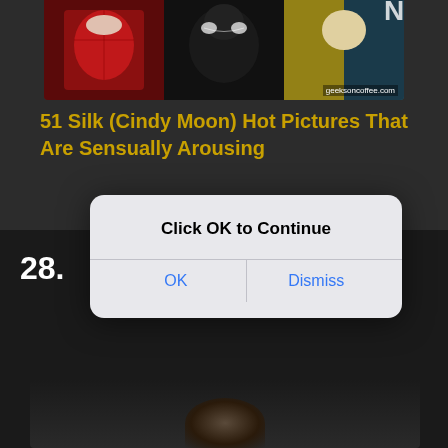[Figure (screenshot): Screenshot of a webpage showing comic book characters (Silk/Cindy Moon themed) with watermark 'geeksoncoffee.com']
51 Silk (Cindy Moon) Hot Pictures That Are Sensually Arousing
28.
[Figure (screenshot): iOS-style dialog box with title 'Click OK to Continue' and two buttons: 'OK' and 'Dismiss']
[Figure (photo): Dark background image with a partially visible person at the bottom]